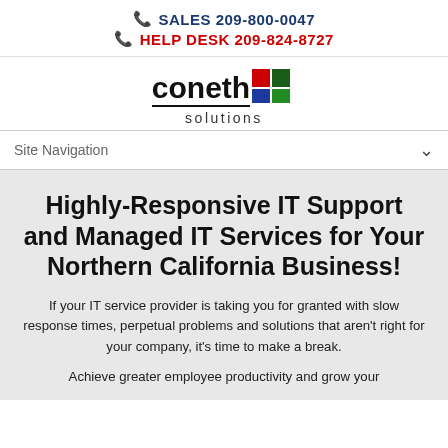SALES 209-800-0047
HELP DESK 209-824-8727
[Figure (logo): Coneth Solutions logo with colored squares and underline]
Site Navigation
Highly-Responsive IT Support and Managed IT Services for Your Northern California Business!
If your IT service provider is taking you for granted with slow response times, perpetual problems and solutions that aren't right for your company, it's time to make a break.
Achieve greater employee productivity and grow your